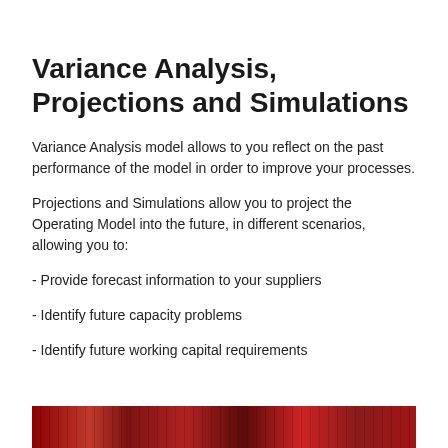Variance Analysis, Projections and Simulations
Variance Analysis model allows to you reflect on the past performance of the model in order to improve your processes.
Projections and Simulations allow you to project the Operating Model into the future, in different scenarios, allowing you to:
- Provide forecast information to your suppliers
- Identify future capacity problems
- Identify future working capital requirements
[Figure (photo): Partial red/dark chart image visible at the bottom of the page]